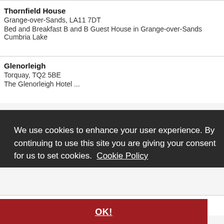Thornfield House
Grange-over-Sands, LA11 7DT
Bed and Breakfast B and B Guest House in Grange-over-Sands Cumbria Lake
Glenorleigh
Torquay, TQ2 5BE
The Glenorleigh Hotel ...
We use cookies to enhance your user experience. By continuing to use this site you are giving your consent for us to set cookies. Cookie Policy
OK!
Alford, LN13 0ST
Welcome to Grange Farmhouse